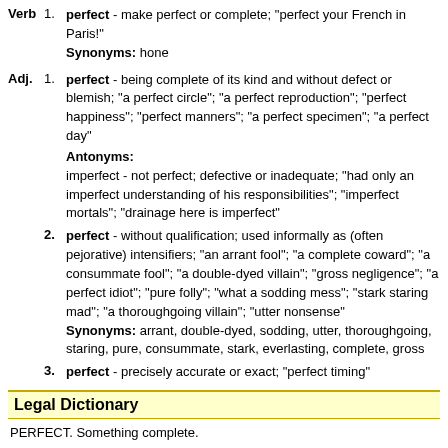Verb 1. perfect - make perfect or complete; "perfect your French in Paris!" Synonyms: hone
Adj. 1. perfect - being complete of its kind and without defect or blemish; "a perfect circle"; "a perfect reproduction"; "perfect happiness"; "perfect manners"; "a perfect specimen"; "a perfect day" Antonyms: imperfect - not perfect; defective or inadequate; "had only an imperfect understanding of his responsibilities"; "imperfect mortals"; "drainage here is imperfect"
2. perfect - without qualification; used informally as (often pejorative) intensifiers; "an arrant fool"; "a complete coward"; "a consummate fool"; "a double-dyed villain"; "gross negligence"; "a perfect idiot"; "pure folly"; "what a sodding mess"; "stark staring mad"; "a thoroughgoing villain"; "utter nonsense" Synonyms: arrant, double-dyed, sodding, utter, thoroughgoing, staring, pure, consummate, stark, everlasting, complete, gross
3. perfect - precisely accurate or exact; "perfect timing"
Legal Dictionary
PERFECT. Something complete.